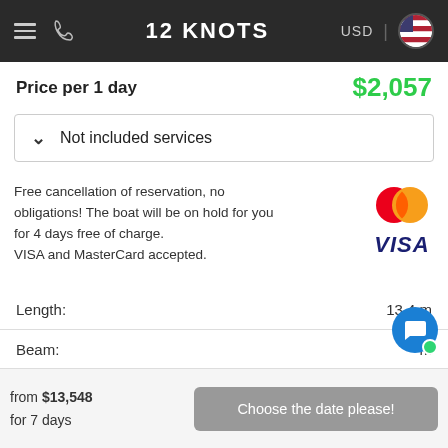12 KNOTS | USD
Price per 1 day  $2,057
Not included services
Free cancellation of reservation, no obligations! The boat will be on hold for you for 4 days free of charge. VISA and MasterCard accepted.
| Spec | Value |
| --- | --- |
| Length: | 13.4 m |
| Beam: | m |
| Draught: | 4.00 m |
from $13,548 for 7 days
Choose the date please!
Capacity:  6